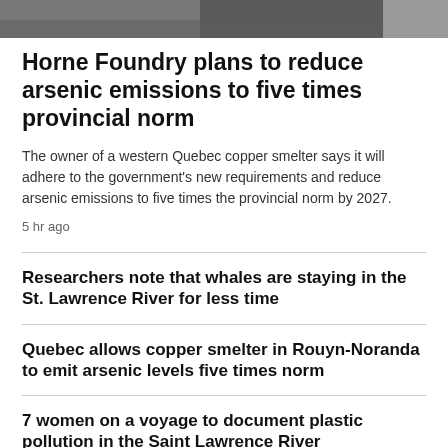[Figure (photo): Top banner photo of a smelter/industrial scene, partially cropped. A smaller thumbnail image appears in the top-right corner.]
Horne Foundry plans to reduce arsenic emissions to five times provincial norm
The owner of a western Quebec copper smelter says it will adhere to the government's new requirements and reduce arsenic emissions to five times the provincial norm by 2027.
5 hr ago
Researchers note that whales are staying in the St. Lawrence River for less time
Quebec allows copper smelter in Rouyn-Noranda to emit arsenic levels five times norm
7 women on a voyage to document plastic pollution in the Saint Lawrence River